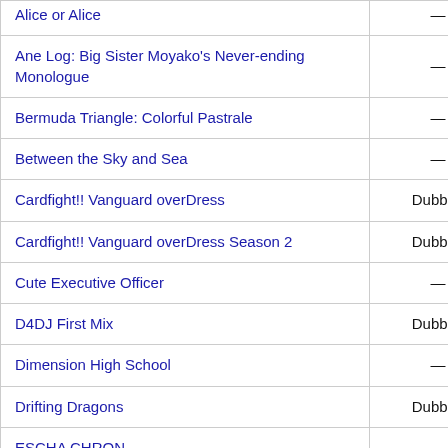| Title | Audio |
| --- | --- |
| Alice or Alice | — |
| Ane Log: Big Sister Moyako's Never-ending Monologue | — |
| Bermuda Triangle: Colorful Pastrale | — |
| Between the Sky and Sea | — |
| Cardfight!! Vanguard overDress | Dubbed |
| Cardfight!! Vanguard overDress Season 2 | Dubbed |
| Cute Executive Officer | — |
| D4DJ First Mix | Dubbed |
| Dimension High School | — |
| Drifting Dragons | Dubbed |
| ESCHA CHRON | — |
| Fate/kaleid liner PRISMA ILLYA – Licht | — |